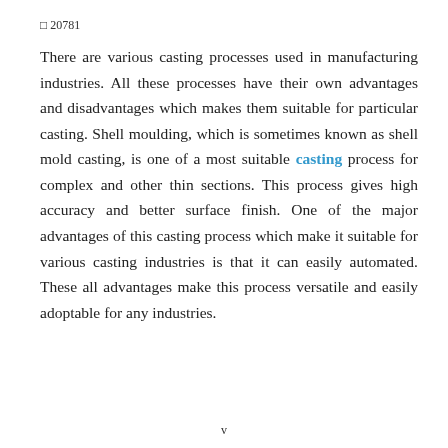□ 20781
There are various casting processes used in manufacturing industries. All these processes have their own advantages and disadvantages which makes them suitable for particular casting. Shell moulding, which is sometimes known as shell mold casting, is one of a most suitable casting process for complex and other thin sections. This process gives high accuracy and better surface finish. One of the major advantages of this casting process which make it suitable for various casting industries is that it can easily automated. These all advantages make this process versatile and easily adoptable for any industries.
v